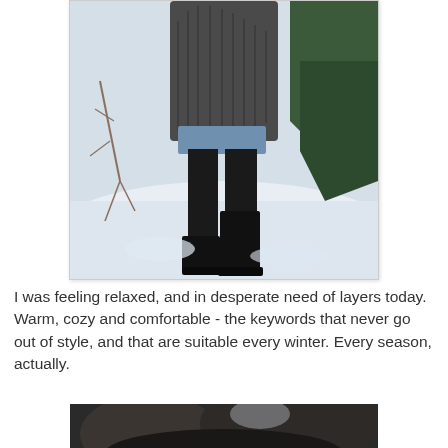[Figure (photo): A person wearing a dark chunky knit sweater, black tights, and tall black boots standing in a snowy winter outdoor setting with evergreen trees in the background. Only the lower body is visible.]
I was feeling relaxed, and in desperate need of layers today. Warm, cozy and comfortable - the keywords that never go out of style, and that are suitable every winter. Every season, actually.
[Figure (photo): Partial bottom photo showing a dark winter outdoor scene, partially cropped.]